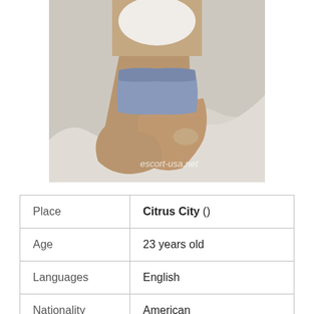[Figure (photo): Person sitting cross-legged on a bed with white sheets, wearing denim shorts and a white crop top. Watermark text reads escort-usa.net.]
| Place | Citrus City () |
| Age | 23 years old |
| Languages | English |
| Nationality | American |